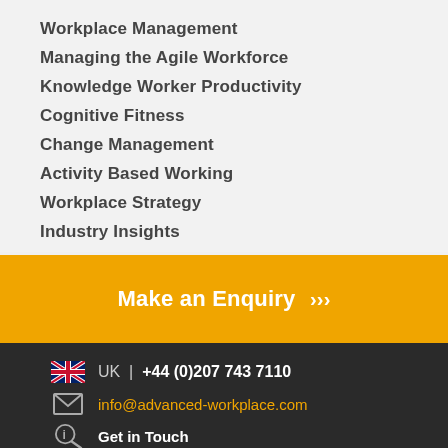Workplace Management
Managing the Agile Workforce
Knowledge Worker Productivity
Cognitive Fitness
Change Management
Activity Based Working
Workplace Strategy
Industry Insights
Make an Enquiry >>>
UK | +44 (0)207 743 7110
info@advanced-workplace.com
Get in Touch